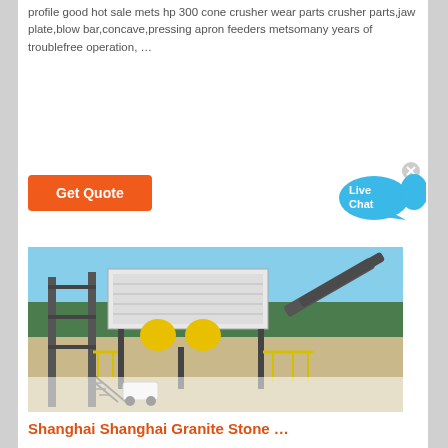profile good hot sale mets hp 300 cone crusher wear parts crusher parts,jaw plate,blow bar,concave,pressing apron feeders metsomany years of troublefree operation, …
[Figure (other): Orange 'Get Quote' button]
[Figure (other): Blue 'Live Chat' speech bubble icon with X close button]
[Figure (photo): Industrial stone crushing plant/machinery with conveyor belts, large processing equipment, steel framework structure, yellow safety railings, and a white vehicle parked nearby, set against a backdrop of forested hills and blue sky.]
Shanghai Shanghai Granite Stone …